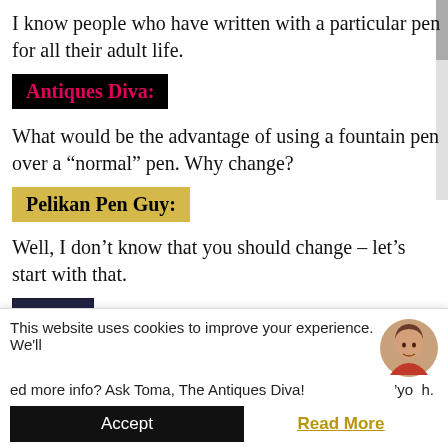I know people who have written with a particular pen for all their adult life.
Antiques Diva:
What would be the advantage of using a fountain pen over a “normal” pen. Why change?
Pelikan Pen Guy:
Well, I don’t know that you should change – let’s start with that.
[Figure (illustration): Book cover: Two Great American Writers - Mark Twain Says]
It’s a matter of preference more than
This website uses cookies to improve your experience. We'll
ed more info? Ask Toma, The Antiques Diva!
yo h.